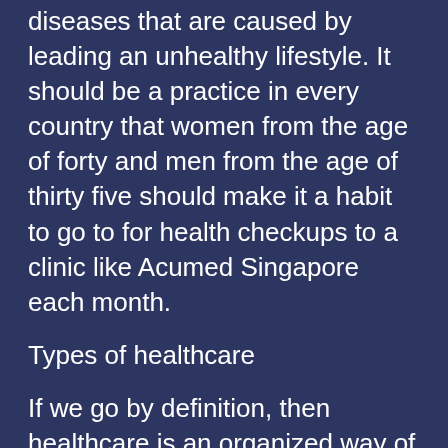diseases that are caused by leading an unhealthy lifestyle. It should be a practice in every country that women from the age of forty and men from the age of thirty five should make it a habit to go to for health checkups to a clinic like Acumed Singapore each month.
Types of healthcare
If we go by definition, then healthcare is an organized way of providing healthcare for the maintenance of good health. These healthcare facilities are provided by healthcare providers and professionals from various fields who are linked to the healthcare industrylike pharmacists, nurses, psychologists, dentists, pathologists etc. The healthcare facilities of various countries are